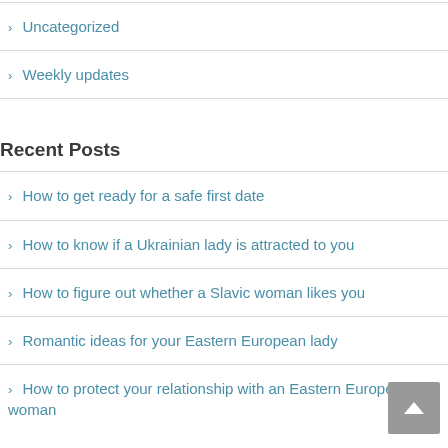Uncategorized
Weekly updates
Recent Posts
How to get ready for a safe first date
How to know if a Ukrainian lady is attracted to you
How to figure out whether a Slavic woman likes you
Romantic ideas for your Eastern European lady
How to protect your relationship with an Eastern European woman